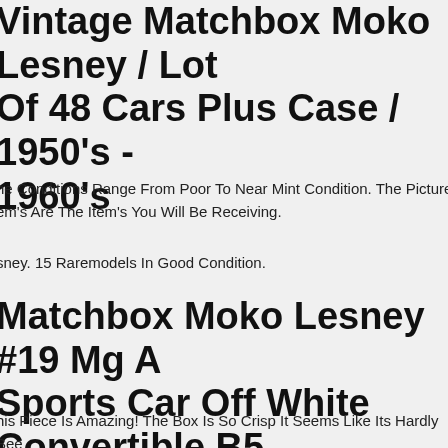Vintage Matchbox Moko Lesney / Lot Of 48 Cars Plus Case / 1950's - 1960's
he Conditions Range From Poor To Near Mint Condition. The Pictures Of The Item's Are The Item's You Will Be Receiving.
sney. 15 Raremodels In Good Condition.
Matchbox Moko Lesney #19 Mg A Sports Car Off White Convertible B5 Box Must See
his Piece Is Amazing! The Box Is So Crisp It Seems Like Its Hardly Been Opened And Is Brand New. The Car Is A Real Beauty. I See One Pin At Back Of Windscreen That I Expect Has Been There From Factory. Tough To Upgrade This Beautiful Piece!matchbox Moko Lesney #19 Mg A